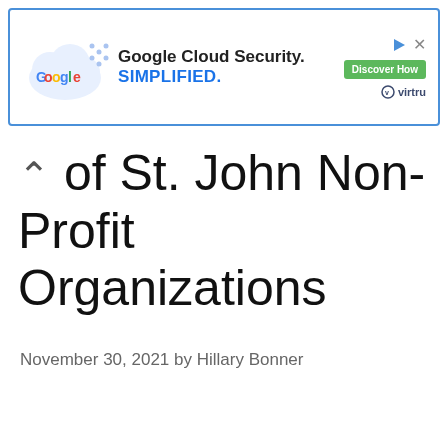[Figure (other): Google Cloud Security advertisement banner with Google logo on cloud, text 'Google Cloud Security. SIMPLIFIED.' with Discover How button and Virtru badge]
of St. John Non-Profit Organizations
November 30, 2021 by Hillary Bonner